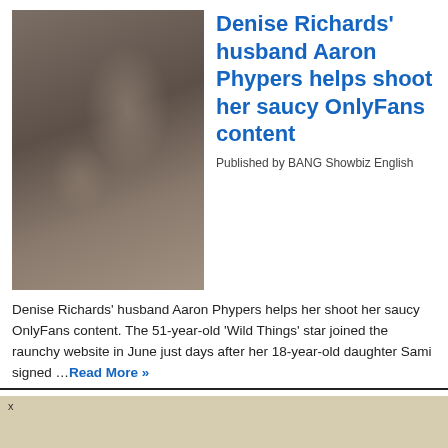[Figure (photo): A man and woman posing together at what appears to be a Bold and Beautiful event, man wearing black cap and t-shirt with arm around woman who has long blonde hair]
Denise Richards' husband Aaron Phypers helps shoot her saucy OnlyFans content
Published by BANG Showbiz English
Denise Richards' husband Aaron Phypers helps her shoot her saucy OnlyFans content. The 51-year-old 'Wild Things' star joined the raunchy website in June just days after her 18-year-old daughter Sami signed …Read More »